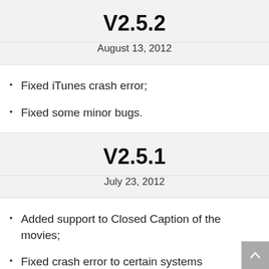V2.5.2
August 13, 2012
Fixed iTunes crash error;
Fixed some minor bugs.
V2.5.1
July 23, 2012
Added support to Closed Caption of the movies;
Fixed crash error to certain systems